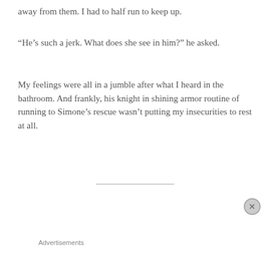away from them. I had to half run to keep up.
“He’s such a jerk. What does she see in him?” he asked.
My feelings were all in a jumble after what I heard in the bathroom. And frankly, his knight in shining armor routine of running to Simone’s rescue wasn’t putting my insecurities to rest at all.
[Figure (other): Book tour advertisement banner showing tablet device and dates: 6th May - Lemon Nail Fiend, B for bookreview, @evmb_creatives; 9th May - The Very Bookish, Chicks, Rogues and Scandals, QuirkyBookReads; 10th May - TBHonest, Jazzy Book Reviews, Victoria Wilks Writes]
Advertisements
[Figure (other): Jetpack advertisement: Jetpack logo and 'Secure Your Site' button on green background]